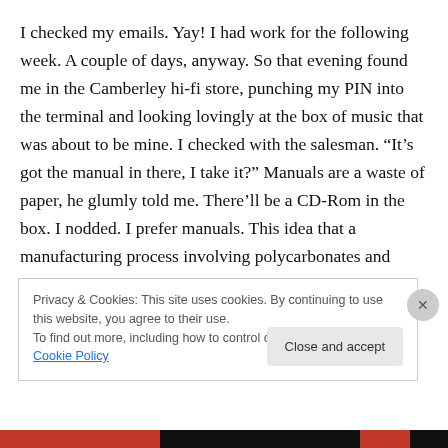I checked my emails. Yay! I had work for the following week. A couple of days, anyway. So that evening found me in the Camberley hi-fi store, punching my PIN into the terminal and looking lovingly at the box of music that was about to be mine. I checked with the salesman. “It’s got the manual in there, I take it?” Manuals are a waste of paper, he glumly told me. There’ll be a CD-Rom in the box. I nodded. I prefer manuals. This idea that a manufacturing process involving polycarbonates and aluminium and a reading process that required a £500 computer and a
Privacy & Cookies: This site uses cookies. By continuing to use this website, you agree to their use.
To find out more, including how to control cookies, see here: Cookie Policy